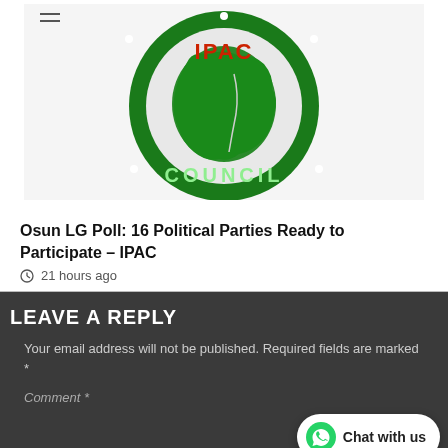[Figure (logo): IPAC (Inter-Party Advisory Council) circular green logo with map of Nigeria and text 'COUNCIL' at bottom]
Osun LG Poll: 16 Political Parties Ready to Participate – IPAC
21 hours ago
LEAVE A REPLY
Your email address will not be published. Required fields are marked *
Comment *
Chat with us